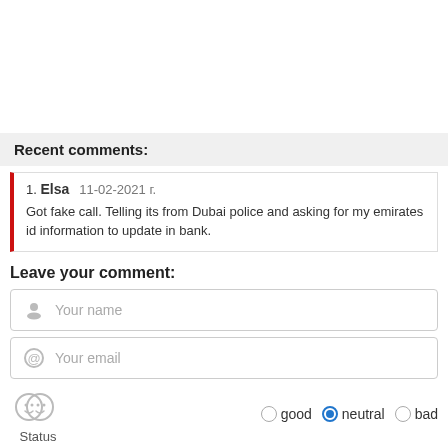Recent comments:
1. Elsa   11-02-2021 г.
Got fake call. Telling its from Dubai police and asking for my emirates id information to update in bank.
Leave your comment:
Your name
Your email
Status   good   neutral   bad
Message text